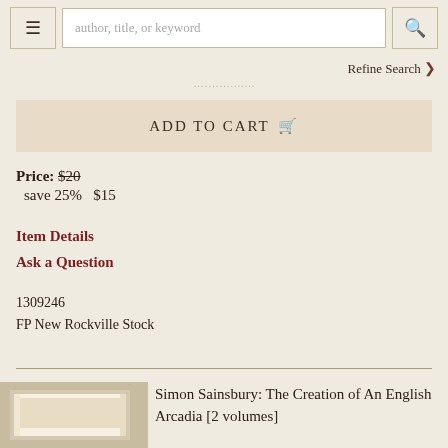author, title, or keyword | Refine Search
ADD TO CART
Price: $20 save 25% $15
Item Details
Ask a Question
1309246
FP New Rockville Stock
Simon Sainsbury: The Creation of An English Arcadia [2 volumes]